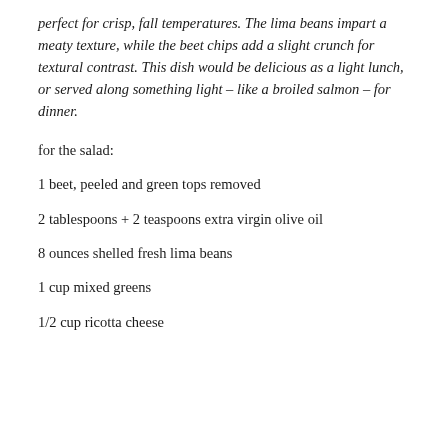perfect for crisp, fall temperatures. The lima beans impart a meaty texture, while the beet chips add a slight crunch for textural contrast. This dish would be delicious as a light lunch, or served along something light – like a broiled salmon – for dinner.
for the salad:
1 beet, peeled and green tops removed
2 tablespoons + 2 teaspoons extra virgin olive oil
8 ounces shelled fresh lima beans
1 cup mixed greens
1/2 cup ricotta cheese